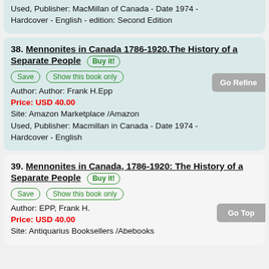Used, Publisher: MacMillan of Canada - Date 1974 - Hardcover - English - edition: Second Edition
38. Mennonites in Canada 1786-1920.The History of a Separate People
Author: Author: Frank H.Epp
Price: USD 40.00
Site: Amazon Marketplace /Amazon
Used, Publisher: Macmillan in Canada - Date 1974 - Hardcover - English
39. Mennonites in Canada, 1786-1920: The History of a Separate People
Author: EPP, Frank H.
Price: USD 40.00
Site: Antiquarius Booksellers /Abebooks